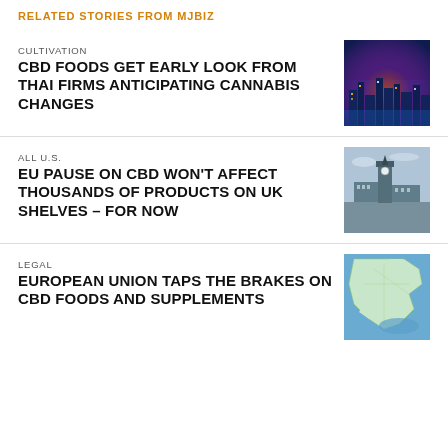RELATED STORIES FROM MJBIZ
CULTIVATION
CBD FOODS GET EARLY LOOK FROM THAI FIRMS ANTICIPATING CANNABIS CHANGES
[Figure (photo): Aerial night city skyline photo]
ALL U.S.
EU PAUSE ON CBD WON'T AFFECT THOUSANDS OF PRODUCTS ON UK SHELVES – FOR NOW
[Figure (photo): Big Ben and London skyline photo]
LEGAL
EUROPEAN UNION TAPS THE BRAKES ON CBD FOODS AND SUPPLEMENTS
[Figure (photo): Map of Europe photo]